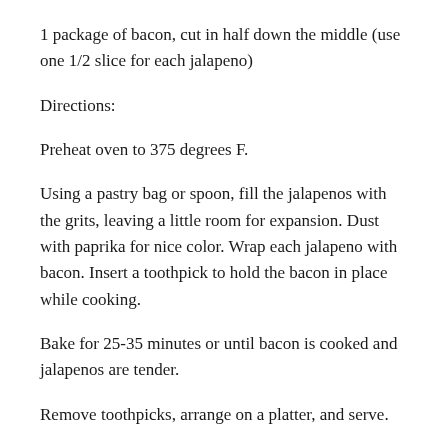1 package of bacon, cut in half down the middle (use one 1/2 slice for each jalapeno)
Directions:
Preheat oven to 375 degrees F.
Using a pastry bag or spoon, fill the jalapenos with the grits, leaving a little room for expansion. Dust with paprika for nice color. Wrap each jalapeno with bacon. Insert a toothpick to hold the bacon in place while cooking.
Bake for 25-35 minutes or until bacon is cooked and jalapenos are tender.
Remove toothpicks, arrange on a platter, and serve.